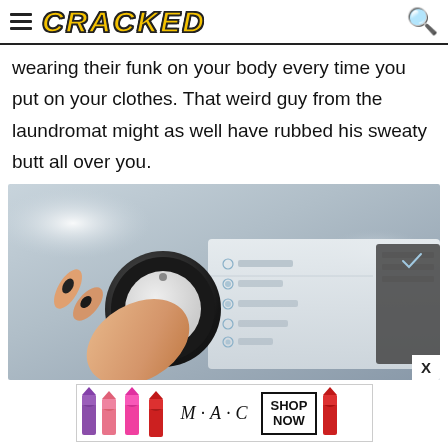CRACKED
wearing their funk on your body every time you put on your clothes. That weird guy from the laundromat might as well have rubbed his sweaty butt all over you.
[Figure (photo): A hand with dark nail polish turning a washing machine dial/knob, with cycle settings visible on the machine panel]
[Figure (other): MAC cosmetics advertisement banner showing lipsticks in purple, pink, and red with MAC logo and SHOP NOW button]